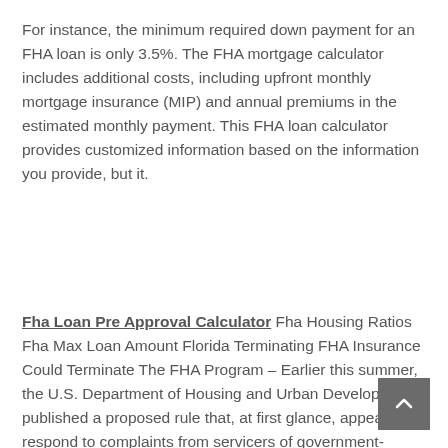For instance, the minimum required down payment for an FHA loan is only 3.5%. The FHA mortgage calculator includes additional costs, including upfront monthly mortgage insurance (MIP) and annual premiums in the estimated monthly payment. This FHA loan calculator provides customized information based on the information you provide, but it.
Fha Loan Pre Approval Calculator Fha Housing Ratios Fha Max Loan Amount Florida Terminating FHA Insurance Could Terminate The FHA Program – Earlier this summer, the U.S. Department of Housing and Urban Development published a proposed rule that, at first glance, appeared to respond to complaints from servicers of government-insured loans.2019 What are the Qualifying Ratios for FHA Loans? –